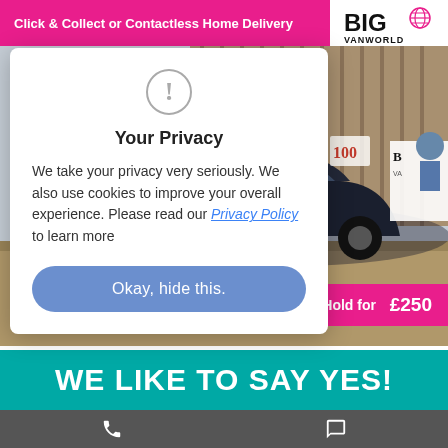Click & Collect or Contactless Home Delivery
[Figure (logo): Big Van World logo — BIG in bold black text with a stylized globe icon, VANWORLD below in black]
[Figure (photo): Outdoor dealership photo showing a dark Citroen car parked on a brick driveway with fence and Big Van World signage in background]
Hold for £250
Your Privacy
We take your privacy very seriously. We also use cookies to improve your overall experience. Please read our Privacy Policy to learn more
Okay, hide this.
WE LIKE TO SAY YES!